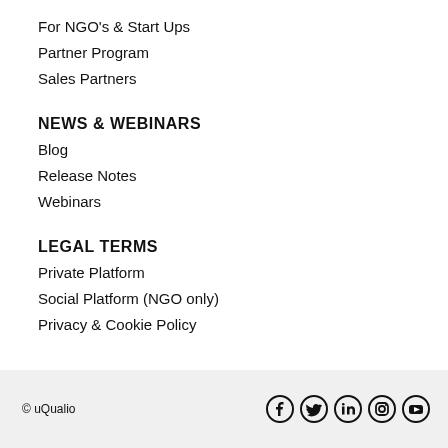For NGO's & Start Ups
Partner Program
Sales Partners
NEWS & WEBINARS
Blog
Release Notes
Webinars
LEGAL TERMS
Private Platform
Social Platform (NGO only)
Privacy & Cookie Policy
© uQualio